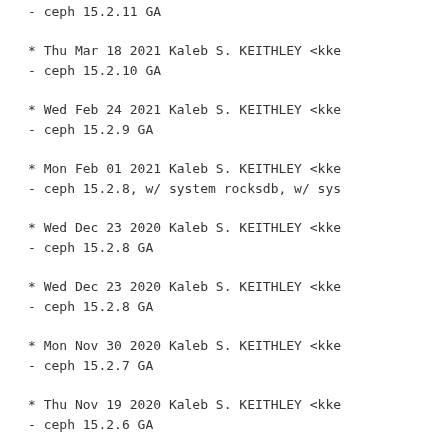- ceph 15.2.11 GA
* Thu Mar 18 2021 Kaleb S. KEITHLEY <kke
- ceph 15.2.10 GA
* Wed Feb 24 2021 Kaleb S. KEITHLEY <kke
- ceph 15.2.9 GA
* Mon Feb 01 2021 Kaleb S. KEITHLEY <kke
- ceph 15.2.8, w/ system rocksdb, w/ sys
* Wed Dec 23 2020 Kaleb S. KEITHLEY <kke
- ceph 15.2.8 GA
* Wed Dec 23 2020 Kaleb S. KEITHLEY <kke
- ceph 15.2.8 GA
* Mon Nov 30 2020 Kaleb S. KEITHLEY <kke
- ceph 15.2.7 GA
* Thu Nov 19 2020 Kaleb S. KEITHLEY <kke
- ceph 15.2.6 GA
* Wed Sep 16 2020 Kaleb S. KEITHLEY <kke